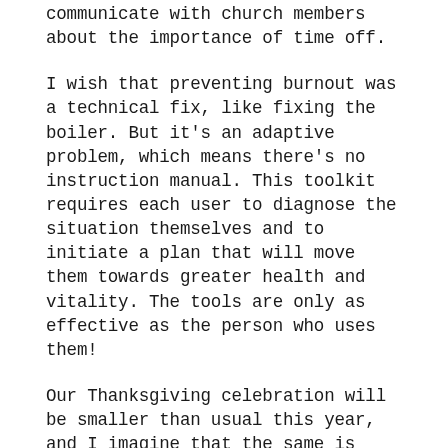communicate with church members about the importance of time off.
I wish that preventing burnout was a technical fix, like fixing the boiler. But it's an adaptive problem, which means there's no instruction manual. This toolkit requires each user to diagnose the situation themselves and to initiate a plan that will move them towards greater health and vitality. The tools are only as effective as the person who uses them!
Our Thanksgiving celebration will be smaller than usual this year, and I imagine that the same is true for many of you. But I will have just as many – perhaps more – things to be grateful for. High on that list is all of you who serve Christ through our churches and ministries with faith, dedication, skill, and wisdom.
May you know yourself and how gifted you are.